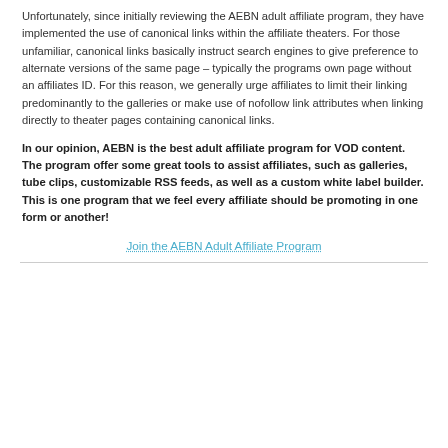Unfortunately, since initially reviewing the AEBN adult affiliate program, they have implemented the use of canonical links within the affiliate theaters. For those unfamiliar, canonical links basically instruct search engines to give preference to alternate versions of the same page – typically the programs own page without an affiliates ID. For this reason, we generally urge affiliates to limit their linking predominantly to the galleries or make use of nofollow link attributes when linking directly to theater pages containing canonical links.
In our opinion, AEBN is the best adult affiliate program for VOD content. The program offer some great tools to assist affiliates, such as galleries, tube clips, customizable RSS feeds, as well as a custom white label builder. This is one program that we feel every affiliate should be promoting in one form or another!
Join the AEBN Adult Affiliate Program